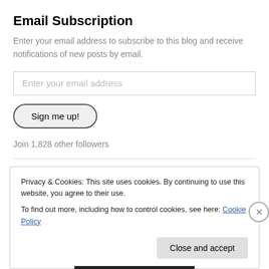Email Subscription
Enter your email address to subscribe to this blog and receive notifications of new posts by email.
Enter your email address
Sign me up!
Join 1,828 other followers
Privacy & Cookies: This site uses cookies. By continuing to use this website, you agree to their use.
To find out more, including how to control cookies, see here: Cookie Policy
Close and accept